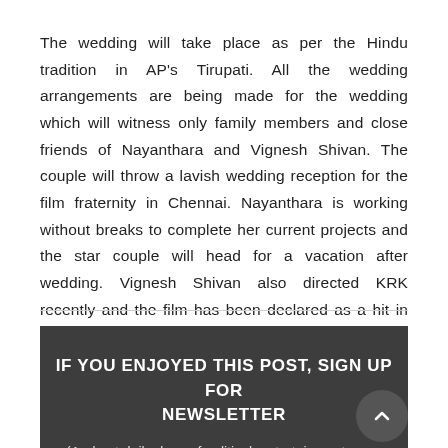The wedding will take place as per the Hindu tradition in AP's Tirupati. All the wedding arrangements are being made for the wedding which will witness only family members and close friends of Nayanthara and Vignesh Shivan. The couple will throw a lavish wedding reception for the film fraternity in Chennai. Nayanthara is working without breaks to complete her current projects and the star couple will head for a vacation after wedding. Vignesh Shivan also directed KRK recently and the film has been declared as a hit in Tamil Nadu.
IF YOU ENJOYED THIS POST, SIGN UP FOR NEWSLETTER
(And get daily dose of political, entertainment news straight to your inbox).